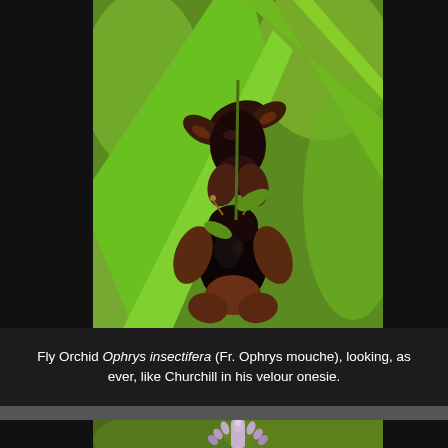[Figure (photo): Close-up photograph of Fly Orchid (Ophrys insectifera) flowers against a green leafy background. The dark brown-black flowers resemble insects, set among bright green leaves.]
Fly Orchid Ophrys insectifera (Fr. Ophrys mouche), looking, as ever, like Churchill in his velour onesie.
[Figure (photo): Partial photograph of a light purple/lavender flower spike, likely another orchid species, shown against a blurred green background. Only the top portion is visible.]